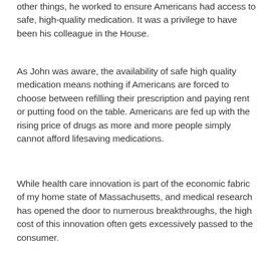other things, he worked to ensure Americans had access to safe, high-quality medication. It was a privilege to have been his colleague in the House.
As John was aware, the availability of safe high quality medication means nothing if Americans are forced to choose between refilling their prescription and paying rent or putting food on the table. Americans are fed up with the rising price of drugs as more and more people simply cannot afford lifesaving medications.
While health care innovation is part of the economic fabric of my home state of Massachusetts, and medical research has opened the door to numerous breakthroughs, the high cost of this innovation often gets excessively passed to the consumer.